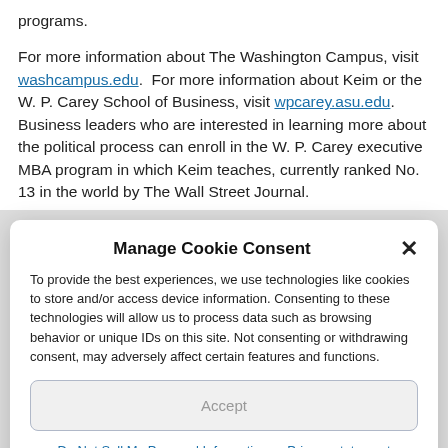programs.
For more information about The Washington Campus, visit washcampus.edu.  For more information about Keim or the W. P. Carey School of Business, visit wpcarey.asu.edu. Business leaders who are interested in learning more about the political process can enroll in the W. P. Carey executive MBA program in which Keim teaches, currently ranked No. 13 in the world by The Wall Street Journal.
Manage Cookie Consent
To provide the best experiences, we use technologies like cookies to store and/or access device information. Consenting to these technologies will allow us to process data such as browsing behavior or unique IDs on this site. Not consenting or withdrawing consent, may adversely affect certain features and functions.
Accept
Do Not Sell My Personal Information   Privacy statement